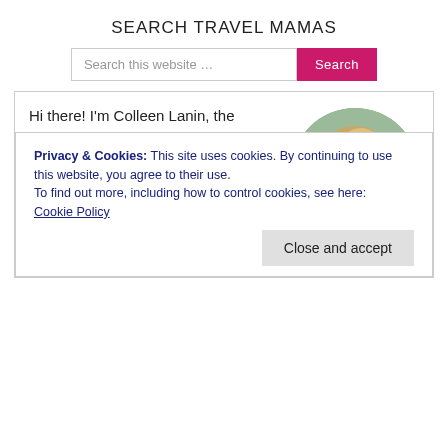SEARCH TRAVEL MAMAS
Search this website …
Hi there! I'm Colleen Lanin, the founder of Travel Mamas. I launched this family travel blog in 2009 to make travel easier and more fun for all ages. I love exploring the world via road trips, airplanes, and cruise ships. Nature?
[Figure (photo): Circular portrait photo of Colleen Lanin, a woman with blonde highlighted hair, smiling, wearing a light pink fur-trimmed coat, with a blurred outdoor background.]
Privacy & Cookies: This site uses cookies. By continuing to use this website, you agree to their use.
To find out more, including how to control cookies, see here:
Cookie Policy
Close and accept